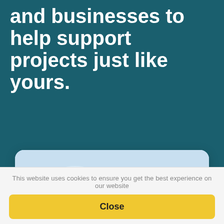and businesses to help support projects just like yours.
[Figure (photo): Rendered image of a modern brick house with large glass entrance, double garage with golden doors, a white car parked on block paving driveway, and manicured shrubs, against a blue sky.]
This website uses cookies to ensure you get the best experience on our website
Close